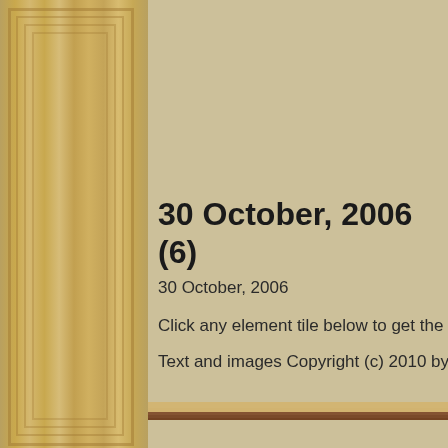30 October, 2006 (6)
30 October, 2006
Click any element tile below to get the full entry for tha
Text and images Copyright (c) 2010 by Theodore W. Gr
[Figure (photo): Wooden size/scale bar showing SIZE: 1 2 3 4 5 6 with number 5 highlighted, on a wood-grain background]